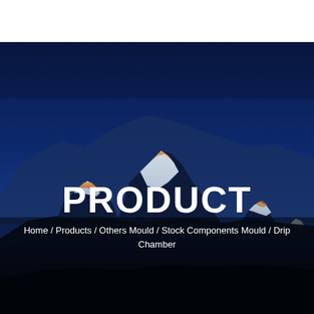[Figure (photo): A dramatic mountain landscape at dusk or dawn showing snow-capped peaks (Himalayas) with illuminated orange/warm-lit summits against a deep blue sky. The foreground shows dark foothills. Text overlay reads PRODUCT with breadcrumb navigation below.]
PRODUCT
Home / Products / Others Mould / Stock Components Mould / Drip Chamber